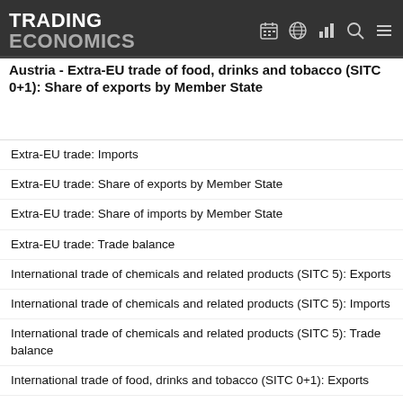TRADING ECONOMICS
Austria - Extra-EU trade of food, drinks and tobacco (SITC 0+1): Share of exports by Member State
Extra-EU trade: Imports
Extra-EU trade: Share of exports by Member State
Extra-EU trade: Share of imports by Member State
Extra-EU trade: Trade balance
International trade of chemicals and related products (SITC 5): Exports
International trade of chemicals and related products (SITC 5): Imports
International trade of chemicals and related products (SITC 5): Trade balance
International trade of food, drinks and tobacco (SITC 0+1): Exports
International trade of food, drinks and tobacco (SITC 0+1): Imports
International trade of food, drinks and tobacco (SITC 0+1): Trade balance
International trade of machinery and transport equipment